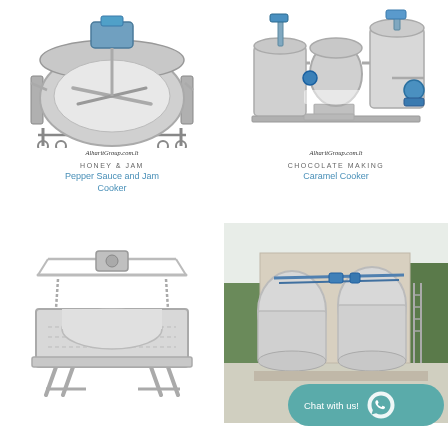[Figure (photo): Industrial steel honey and jam cooker / kettle on wheels with mixing blades, with AlharitGroup.com.lt watermark]
HONEY & JAM
Pepper Sauce and Jam Cooker
[Figure (photo): Industrial chocolate making / caramel cooker system with multiple tanks and piping, with AlharitGroup.com.lt watermark]
CHOCOLATE MAKING
Caramel Cooker
[Figure (photo): Industrial stainless steel vibrating sieve / separator machine on legs]
[Figure (photo): Outdoor large stainless steel industrial tanks with blue piping and accessories; Chat with us! WhatsApp button overlay]